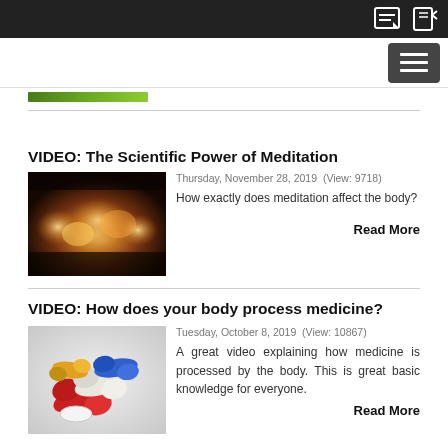VIDEO: The Scientific Power of Meditation
Thursday, November 28, 2019  (View: 9718)
[Figure (photo): Photo of glowing candles in the dark]
How exactly does meditation affect the body?
Read More
VIDEO: How does your body process medicine?
Tuesday, October 8, 2019  (View: 10867)
[Figure (photo): Photo of colorful medicine pills and capsules on white background]
A great video explaining how medicine is processed by the body. This is great basic knowledge for everyone.
Read More